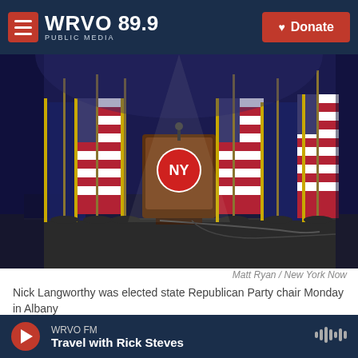WRVO 89.9 PUBLIC MEDIA — Donate
[Figure (photo): A podium on a stage with NY Republican Party logo, surrounded by multiple American flags and New York State flags on gold stands, against a dark blue backdrop with event lighting.]
Matt Ryan / New York Now
Nick Langworthy was elected state Republican Party chair Monday in Albany
New York's Republican Party met in a hotel outside
WRVO FM — Travel with Rick Steves